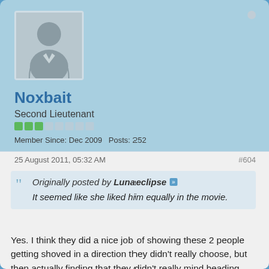[Figure (illustration): Generic user avatar silhouette (gray figure with suit on light gray background)]
Noxbait
Second Lieutenant
Member Since: Dec 2009   Posts: 252
25 August 2011, 05:32 AM
#604
Originally posted by Lunaeclipse
It seemed like she liked him equally in the movie.
Yes. I think they did a nice job of showing these 2 people getting shoved in a direction they didn't really choose, but then actually finding that they didn't really mind heading down that path anyway! I love how they connected over the language when she showed him the tunnels and the writing. I think that showed them they